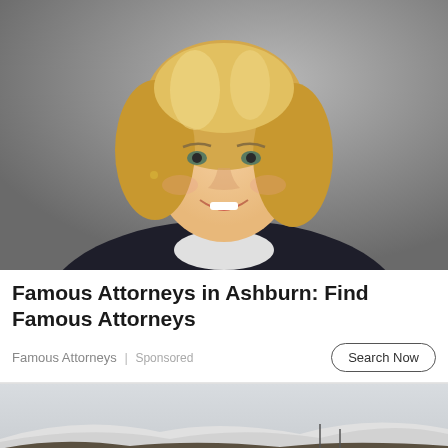[Figure (photo): Professional headshot of a smiling blonde woman in a dark blazer against a gray background]
Famous Attorneys in Ashburn: Find Famous Attorneys
Famous Attorneys | Sponsored
Search Now
[Figure (photo): Outdoor scene with orange/red buildings or containers against a snowy mountainous landscape]